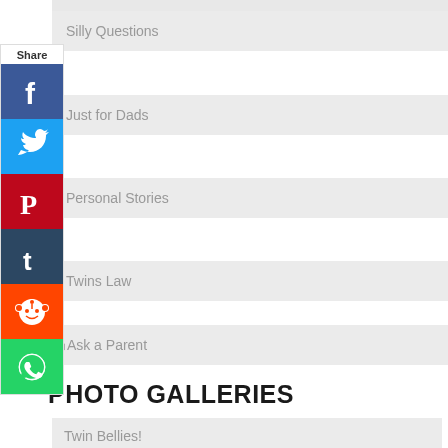[Figure (infographic): Social share sidebar with Facebook, Twitter, Pinterest, Tumblr, Reddit, and WhatsApp buttons]
Silly Questions
Just for Dads
Personal Stories
Twins Law
◄ Ask a Parent
PHOTO GALLERIES
Twin Bellies!